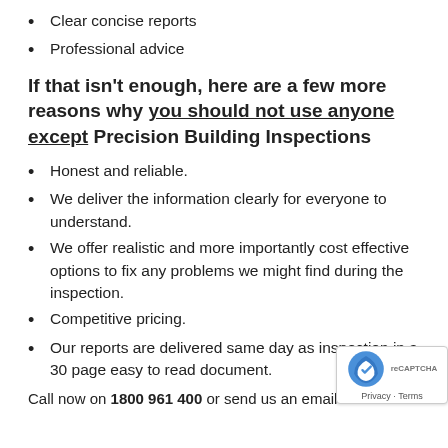Clear concise reports
Professional advice
If that isn't enough, here are a few more reasons why you should not use anyone except Precision Building Inspections
Honest and reliable.
We deliver the information clearly for everyone to understand.
We offer realistic and more importantly cost effective options to fix any problems we might find during the inspection.
Competitive pricing.
Our reports are delivered same day as inspection in a 30 page easy to read document.
Call now on 1800 961 400 or send us an email